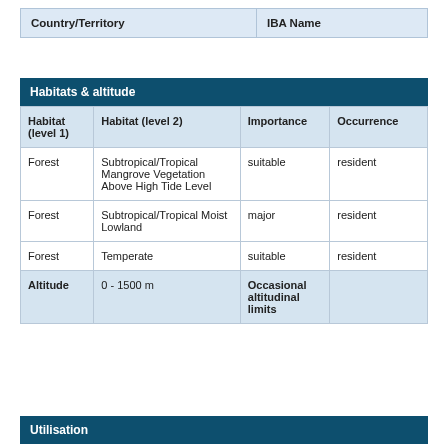| Country/Territory | IBA Name |
| --- | --- |
Habitats & altitude
| Habitat (level 1) | Habitat (level 2) | Importance | Occurrence |
| --- | --- | --- | --- |
| Forest | Subtropical/Tropical Mangrove Vegetation Above High Tide Level | suitable | resident |
| Forest | Subtropical/Tropical Moist Lowland | major | resident |
| Forest | Temperate | suitable | resident |
| Altitude | 0 - 1500 m | Occasional altitudinal limits |  |
Utilisation